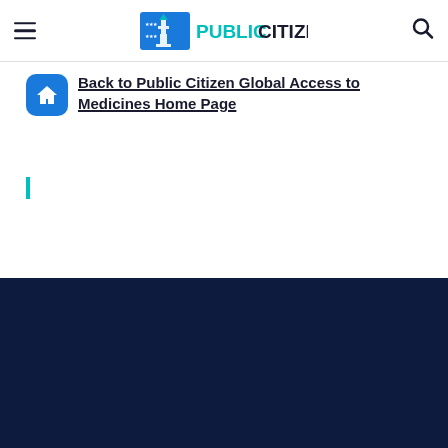Public Citizen navigation header with hamburger menu and search icon
Back to Public Citizen Global Access to Medicines Home Page
|
[Figure (screenshot): Dark navy footer section with white card at the bottom containing text 'YOU MIGHT BE INTERESTED']